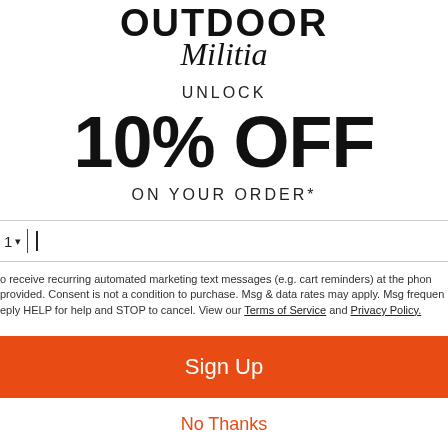[Figure (logo): Outdoor Militia logo — bold sans-serif OUTDOOR on top, italic script Militia below]
UNLOCK
10% OFF
ON YOUR ORDER*
1 ▾ | [phone input cursor]
o receive recurring automated marketing text messages (e.g. cart reminders) at the phon provided. Consent is not a condition to purchase. Msg & data rates may apply. Msg frequen eply HELP for help and STOP to cancel. View our Terms of Service and Privacy Policy.
Sign Up
No Thanks